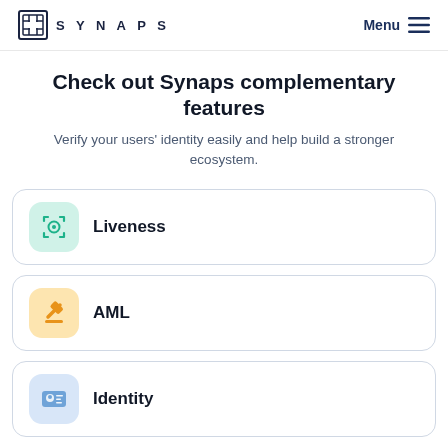SYNAPS — Menu
Check out Synaps complementary features
Verify your users' identity easily and help build a stronger ecosystem.
Liveness
AML
Identity